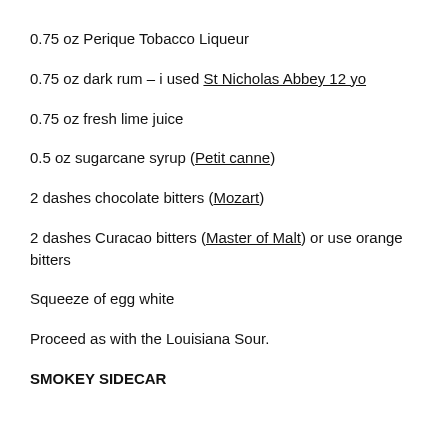0.75 oz Perique Tobacco Liqueur
0.75 oz dark rum – i used St Nicholas Abbey 12 yo
0.75 oz fresh lime juice
0.5 oz sugarcane syrup (Petit canne)
2 dashes chocolate bitters (Mozart)
2 dashes Curacao bitters (Master of Malt) or use orange bitters
Squeeze of egg white
Proceed as with the Louisiana Sour.
SMOKEY SIDECAR